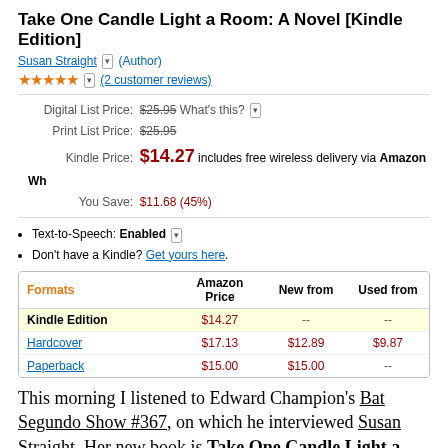Take One Candle Light a Room: A Novel [Kindle Edition]
Susan Straight (Author)
★★★★★ (2 customer reviews)
| Formats | Amazon Price | New from | Used from |
| --- | --- | --- | --- |
| Kindle Edition | $14.27 | -- | -- |
| Hardcover | $17.13 | $12.89 | $9.87 |
| Paperback | $15.00 | $15.00 | -- |
Digital List Price: $25.95 What's this?
Print List Price: $25.95
Kindle Price: $14.27 includes free wireless delivery via Amazon Wh
You Save: $11.68 (45%)
Text-to-Speech: Enabled
Don't have a Kindle? Get yours here.
This morning I listened to Edward Champion's Bat Segundo Show #367, on which he interviewed Susan Straight. Her new book is Take One Candle Light a Room. From hearing this very interesting interview, I learned the novel is set in and around New Orleans before and after Katrina, and deals with troubled people trying not to screw up their lives. If you know my life history, my interests and taste in